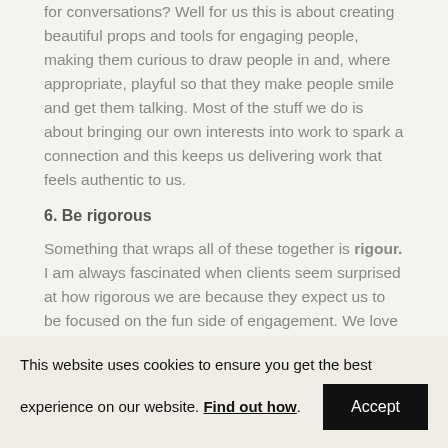for conversations? Well for us this is about creating beautiful props and tools for engaging people, making them curious to draw people in and, where appropriate, playful so that they make people smile and get them talking. Most of the stuff we do is about bringing our own interests into work to spark a connection and this keeps us delivering work that feels authentic to us.
6. Be rigorous
Something that wraps all of these together is rigour. I am always fascinated when clients seem surprised at how rigorous we are because they expect us to be focused on the fun side of engagement. We love fun, curiosity, giving people
This website uses cookies to ensure you get the best experience on our website. Find out how. Accept